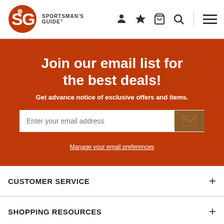[Figure (screenshot): Sportsman's Guide website header with logo, navigation icons (person, star, cart, search, menu)]
[Figure (infographic): Orange promotional banner: Join our email list for the best deals! Get advance notice of exclusive offers and items. Email input field with submit button. Manage your email preferences link.]
CUSTOMER SERVICE
SHOPPING RESOURCES